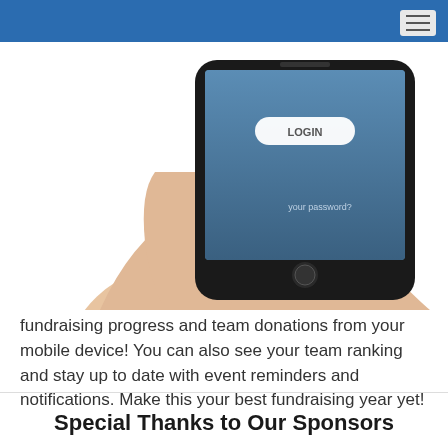[Figure (photo): A hand holding a smartphone displaying a LOGIN screen with a login button and 'your password?' text visible on the screen. The phone has a dark frame with a home button.]
fundraising progress and team donations from your mobile device! You can also see your team ranking and stay up to date with event reminders and notifications. Make this your best fundraising year yet!
Special Thanks to Our Sponsors